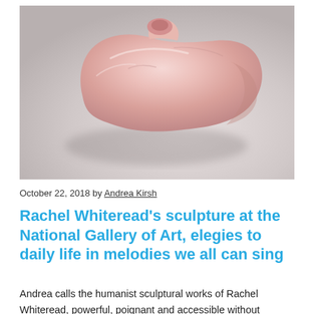[Figure (photo): A smooth, pink, organic-shaped sculptural object resembling a hot water bottle, photographed on a light grey background with a soft shadow beneath it.]
October 22, 2018 by Andrea Kirsh
Rachel Whiteread's sculpture at the National Gallery of Art, elegies to daily life in melodies we all can sing
Andrea calls the humanist sculptural works of Rachel Whiteread, powerful, poignant and accessible without gimmicks. She praises the